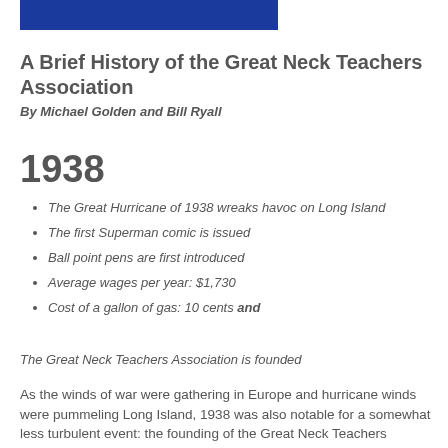[Figure (other): Blue horizontal banner/bar at top of page]
A Brief History of the Great Neck Teachers Association
By Michael Golden and Bill Ryall
1938
The Great Hurricane of 1938 wreaks havoc on Long Island
The first Superman comic is issued
Ball point pens are first introduced
Average wages per year: $1,730
Cost of a gallon of gas: 10 cents and
The Great Neck Teachers Association is founded
As the winds of war were gathering in Europe and hurricane winds were pummeling Long Island, 1938 was also notable for a somewhat less turbulent event: the founding of the Great Neck Teachers Association.  It is easy, at a time of relatively amicable